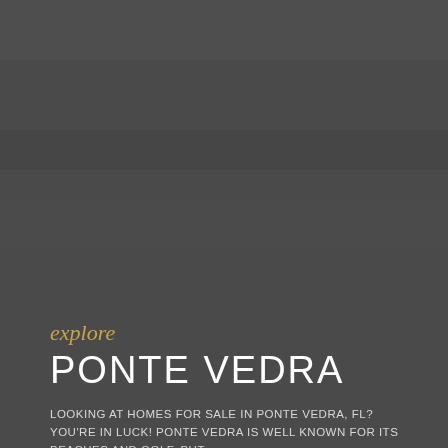[Figure (photo): Dark grey photographic background image occupying the upper portion of the page, showing muted tones of a landscape or outdoor scene.]
explore
PONTE VEDRA
LOOKING AT HOMES FOR SALE IN PONTE VEDRA, FL? YOU'RE IN LUCK! PONTE VEDRA IS WELL KNOWN FOR ITS BEACHES AND GOLF, BUT